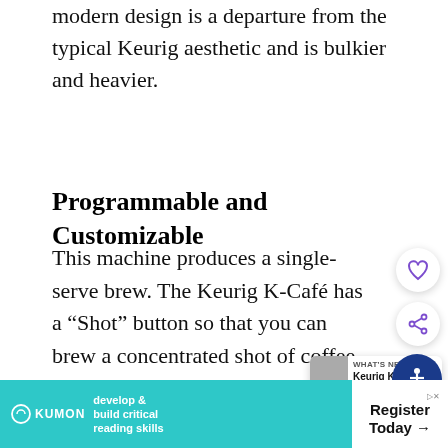modern design is a departure from the typical Keurig aesthetic and is bulkier and heavier.
Programmable and Customizable
This machine produces a single-serve brew. The Keurig K-Café has a “Shot” button so that you can brew a concentrated shot of coffee from the K Cup pod. The coffee also features a Smart Start design. This feature allows the coffee maker to heat and brew...
[Figure (other): Advertisement banner: Kumon 'develop & build critical reading skills' and 'Register Today' ad]
[Figure (other): UI overlay elements: heart/save button, share button, accessibility button, What's Next Keurig K-Express panel]